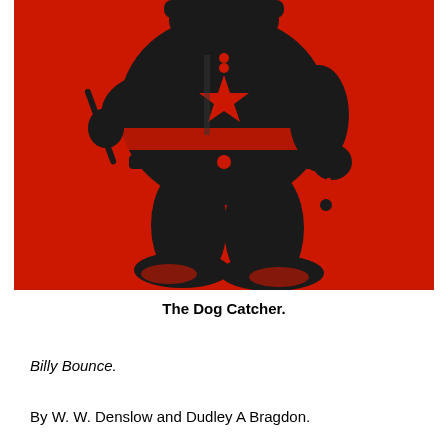[Figure (illustration): Black silhouette illustration of a stout dog catcher character on a red background. The figure wears a uniform with a star badge and striped details, holds a pole/stick in one hand, and wears sneakers. Only the lower portion of the figure is fully visible including the torso, legs, and feet.]
The Dog Catcher.
Billy Bounce.
By W. W. Denslow and Dudley A Bragdon.